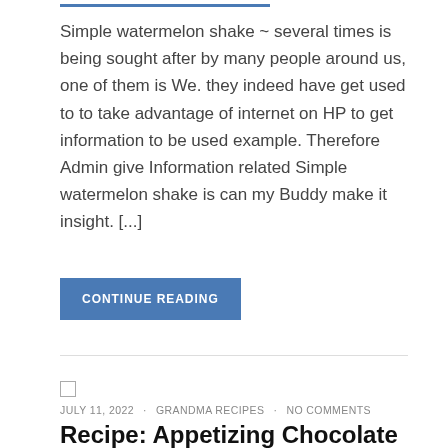Simple watermelon shake ~ several times is being sought after by many people around us, one of them is We. they indeed have get used to to take advantage of internet on HP to get information to be used example. Therefore Admin give Information related Simple watermelon shake is can my Buddy make it insight. [...]
CONTINUE READING
JULY 11, 2022 · GRANDMA RECIPES · NO COMMENTS
Recipe: Appetizing Chocolate milkshake Oreo